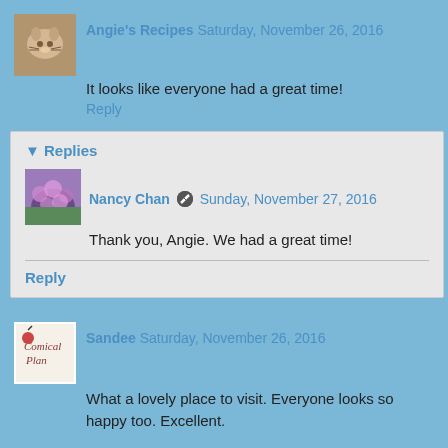[Figure (photo): Avatar thumbnail of a cat (Angie's Recipes profile photo)]
Angie's Recipes  Saturday, November 26, 2016
It looks like everyone had a great time!
Reply
Replies
[Figure (photo): Avatar thumbnail showing purple flowers (Nancy Chan profile photo)]
Nancy Chan  Sunday, November 27, 2016
Thank you, Angie. We had a great time!
Reply
[Figure (logo): Sandee's Comical Plan blog logo/avatar]
Sandee  Saturday, November 26, 2016
What a lovely place to visit. Everyone looks so happy too. Excellent.

Have a fabulous day Nancy. ☺
Reply